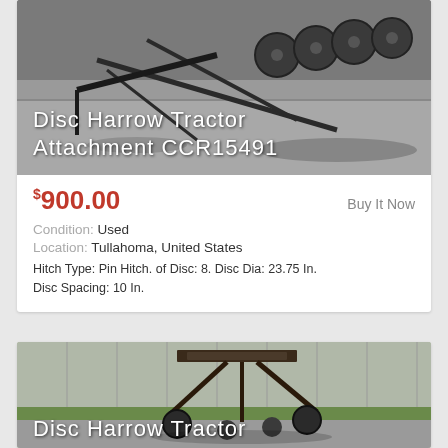[Figure (photo): Photo of a Disc Harrow Tractor Attachment (CCR15491) lying on pavement, showing metal discs and frame, with overlay text of the product title]
$900.00   Buy It Now
Condition: Used
Location: Tullahoma, United States
Hitch Type: Pin Hitch. of Disc: 8. Disc Dia: 23.75 In. Disc Spacing: 10 In.
[Figure (photo): Photo of another Disc Harrow Tractor Attachment laying on pavement near a metal building, with partial overlay title visible at bottom]